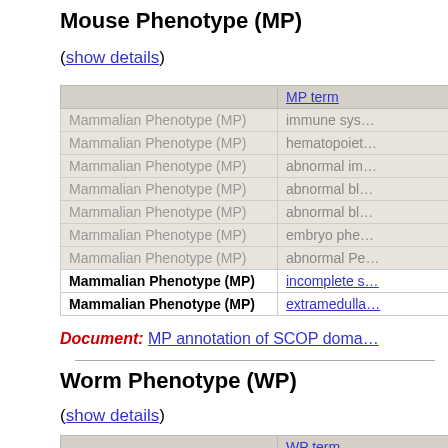Mouse Phenotype (MP)
(show details)
|  | MP term |
| --- | --- |
| Mammalian Phenotype (MP) | immune sys… |
| Mammalian Phenotype (MP) | hematopoiet… |
| Mammalian Phenotype (MP) | abnormal im… |
| Mammalian Phenotype (MP) | abnormal bl… |
| Mammalian Phenotype (MP) | abnormal bl… |
| Mammalian Phenotype (MP) | embryo phe… |
| Mammalian Phenotype (MP) | abnormal Pe… |
| Mammalian Phenotype (MP) | incomplete s… |
| Mammalian Phenotype (MP) | extramedulla… |
Document: MP annotation of SCOP doma…
Worm Phenotype (WP)
(show details)
|  | WP term |
| --- | --- |
| Worm Phenotype (WP) | organism environ… |